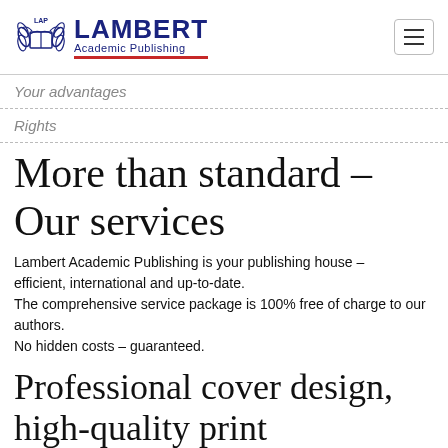LAP LAMBERT Academic Publishing
Your advantages
Rights
More than standard – Our services
Lambert Academic Publishing is your publishing house – efficient, international and up-to-date.
The comprehensive service package is 100% free of charge to our authors.
No hidden costs – guaranteed.
Professional cover design, high-quality print